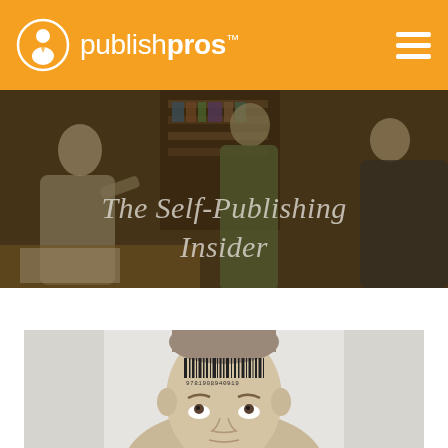publish pros™
The Self-Publishing Insider
[Figure (photo): Man with a barcode printed on his forehead, looking upward, against a light background]
[Figure (photo): Hero banner image showing people in a room with bookshelves, semi-transparent overlay]